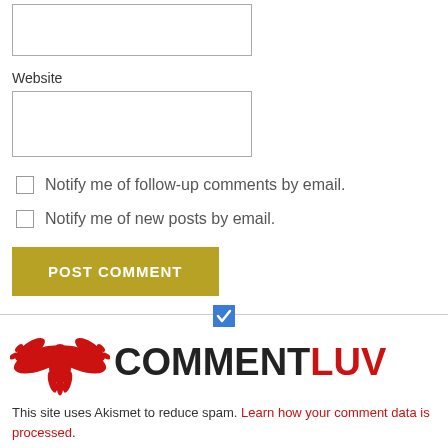Website
Notify me of follow-up comments by email.
Notify me of new posts by email.
POST COMMENT
[Figure (logo): CommentLuv logo with red phoenix/eagle wings and text 'COMMENTLUV' in black and red]
This site uses Akismet to reduce spam. Learn how your comment data is processed.